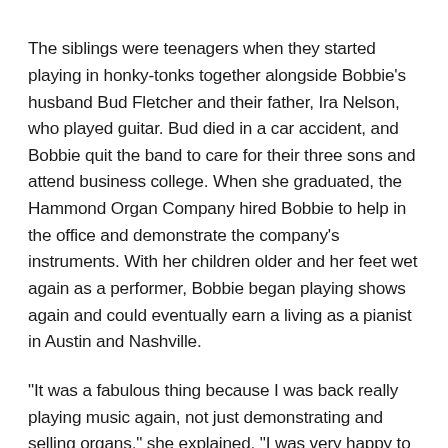The siblings were teenagers when they started playing in honky-tonks together alongside Bobbie’s husband Bud Fletcher and their father, Ira Nelson, who played guitar. Bud died in a car accident, and Bobbie quit the band to care for their three sons and attend business college. When she graduated, the Hammond Organ Company hired Bobbie to help in the office and demonstrate the company’s instruments. With her children older and her feet wet again as a performer, Bobbie began playing shows again and could eventually earn a living as a pianist in Austin and Nashville.
“It was a fabulous thing because I was back really playing music again, not just demonstrating and selling organs,” she explained. “I was very happy to be